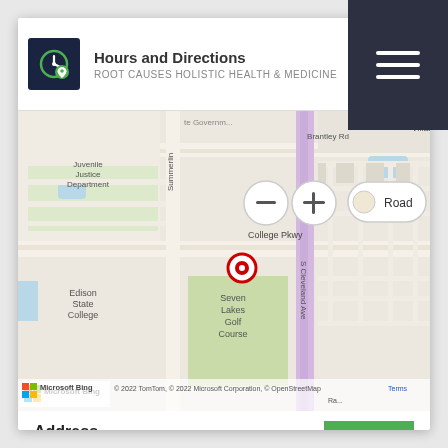[Figure (screenshot): Top navigation bar with hamburger menu (three white lines) on dark navy/charcoal background]
Hours and Directions
ROOT CAUSES HOLISTIC HEALTH & MEDICINE
[Figure (map): Microsoft Bing map showing location near College Pkwy and S Cleveland Ave in Fort Myers, FL. Shows surrounding streets including Brantley Rd, Summerlin, Edison State College, Seven Lakes Golf Course area. Red location pin marker visible. Map controls show zoom in/out and Road view toggle. Scale shows 2500 feet / 500 m. Attribution: © 2022 TomTom, © 2022 Microsoft Corporation, © OpenStreetMap, Terms]
Address
12734 Kenwood Ln
Suite 84
Fort Myers, FL 33907
(239) 425-2900
www.rtcausesmd.com